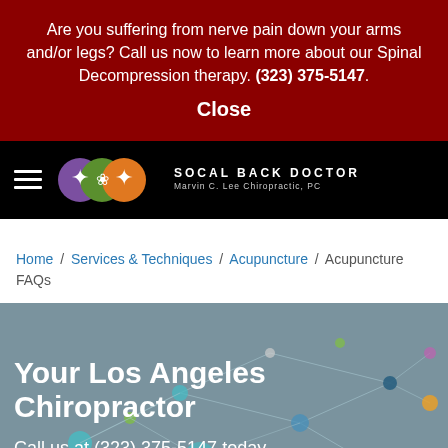Are you suffering from nerve pain down your arms and/or legs? Call us now to learn more about our Spinal Decompression therapy. (323) 375-5147.
Close
[Figure (logo): SoCal Back Doctor logo with three overlapping circles (purple, green, orange) containing human figures, and text 'SOCAL BACK DOCTOR / Marvin C. Lee Chiropractic, PC']
Home / Services & Techniques / Acupuncture / Acupuncture FAQs
Your Los Angeles Chiropractor
Call us at (323) 375-5147 today